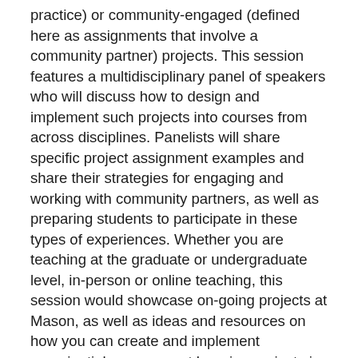practice) or community-engaged (defined here as assignments that involve a community partner) projects. This session features a multidisciplinary panel of speakers who will discuss how to design and implement such projects into courses from across disciplines. Panelists will share specific project assignment examples and share their strategies for engaging and working with community partners, as well as preparing students to participate in these types of experiences. Whether you are teaching at the graduate or undergraduate level, in-person or online teaching, this session would showcase on-going projects at Mason, as well as ideas and resources on how you can create and implement experiential engagement learning projects in your classroom. To begin the session, participants will be asked to share their definition of "experiential" and "community-engaged" activities on a Jamboard. Answers are made public for all attendees. The convener will next introduce the speakers and the lightning talk format. Each speaker will have 6 to 10 mins (max) of lighting talk. During the lightning talk, participants are encouraged